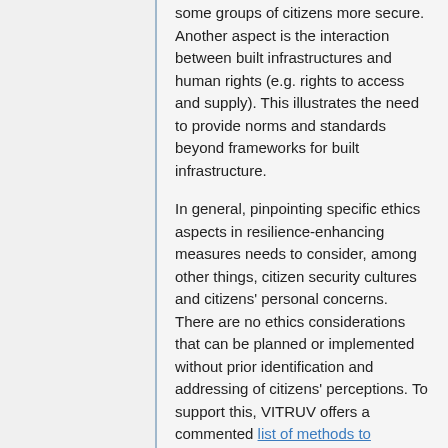some groups of citizens more secure. Another aspect is the interaction between built infrastructures and human rights (e.g. rights to access and supply). This illustrates the need to provide norms and standards beyond frameworks for built infrastructure.
In general, pinpointing specific ethics aspects in resilience-enhancing measures needs to consider, among other things, citizen security cultures and citizens' personal concerns. There are no ethics considerations that can be planned or implemented without prior identification and addressing of citizens' perceptions. To support this, VITRUV offers a commented list of methods to determine ethics aspects in relevant urban planning.